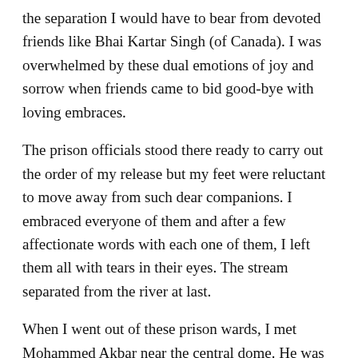the separation I would have to bear from devoted friends like Bhai Kartar Singh (of Canada). I was overwhelmed by these dual emotions of joy and sorrow when friends came to bid good-bye with loving embraces.
The prison officials stood there ready to carry out the order of my release but my feet were reluctant to move away from such dear companions. I embraced everyone of them and after a few affectionate words with each one of them, I left them all with tears in their eyes. The stream separated from the river at last.
When I went out of these prison wards, I met Mohammed Akbar near the central dome. He was smiling and coming towards me. On seeing me, he congratulated me for my release. Inattentive to his felicitations, I told him that it was time that he should fulfill his promise. He should not miss the chance. He smiled and said that he had already made